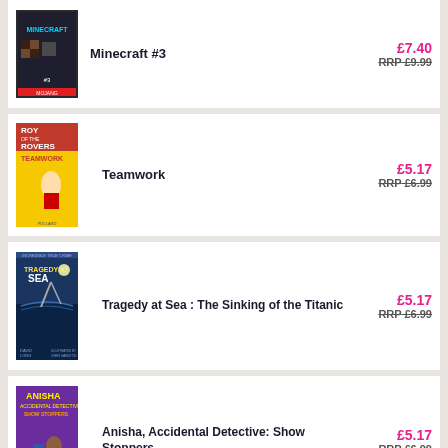Minecraft #3 — £7.40, RRP £9.99
Teamwork — £5.17, RRP £6.99
Tragedy at Sea : The Sinking of the Titanic — £5.17, RRP £6.99
Anisha, Accidental Detective: Show Stoppers — £5.17, RRP £6.99